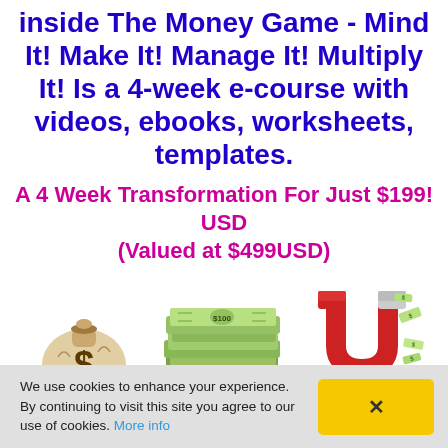inside The Money Game - Mind It! Make It! Manage It! Multiply It! Is a 4-week e-course with videos, ebooks, worksheets, templates.
A 4 Week Transformation For Just $199! USD (Valued at $499USD)
[Figure (illustration): Three money-related illustrations: a money bag with dollar sign, a stack of US dollar bills, and a red horseshoe magnet attracting dollar bills.]
We use cookies to enhance your experience. By continuing to visit this site you agree to our use of cookies. More info